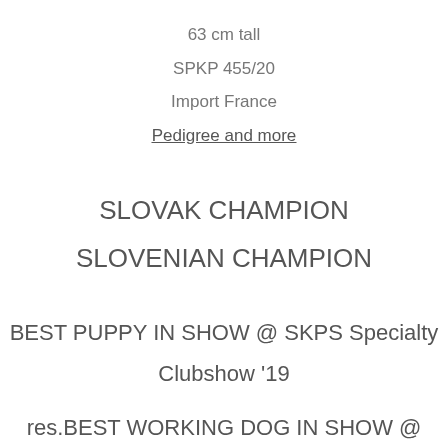63 cm tall
SPKP 455/20
Import France
Pedigree and more
SLOVAK CHAMPION
SLOVENIAN CHAMPION
BEST PUPPY IN SHOW @ SKPS Specialty Clubshow '19
res.BEST WORKING DOG IN SHOW @